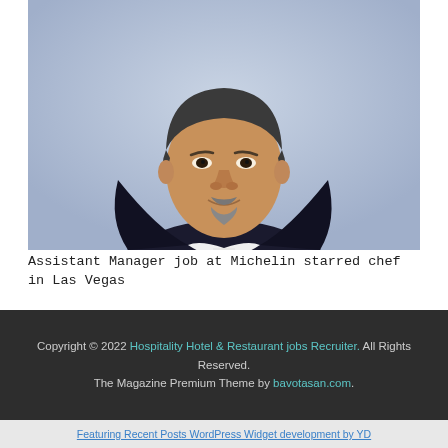[Figure (photo): Professional headshot of a middle-aged Asian man with salt-and-pepper goatee, wearing a dark suit jacket and white dress shirt, against a light blue-gray background.]
Assistant Manager job at Michelin starred chef in Las Vegas
Copyright © 2022 Hospitality Hotel & Restaurant jobs Recruiter. All Rights Reserved.
The Magazine Premium Theme by bavotasan.com.
Featuring Recent Posts WordPress Widget development by YD